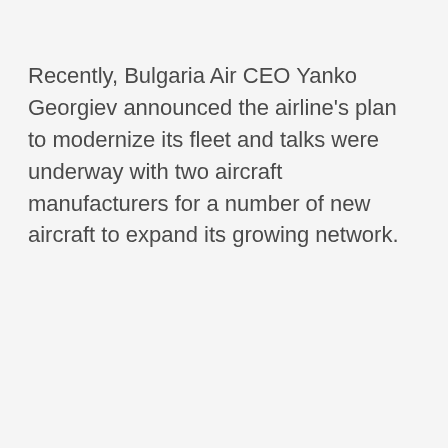Recently, Bulgaria Air CEO Yanko Georgiev announced the airline's plan to modernize its fleet and talks were underway with two aircraft manufacturers for a number of new aircraft to expand its growing network.